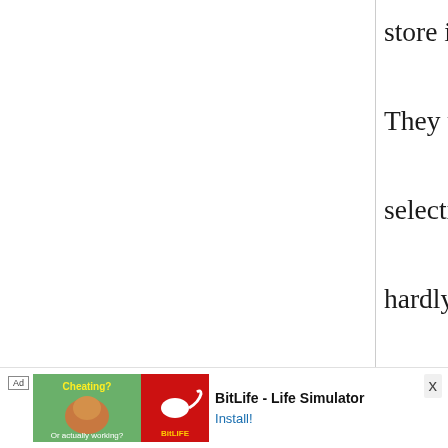store in Mobile, AL. They vary their selection a lot though, hardly ever having the same items.
RD
20 December, 2013 - 16:48
permalink
Re: Japanese grocery stores in the
[Figure (other): Advertisement banner at bottom: Ad label, muscle/cheating app image, BitLife app icon (red), BitLife - Life Simulator text, Install! link, X close button]